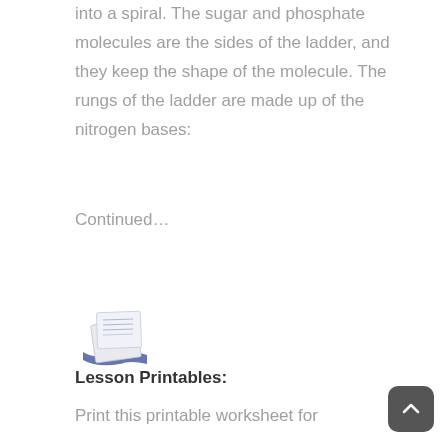into a spiral. The sugar and phosphate molecules are the sides of the ladder, and they keep the shape of the molecule. The rungs of the ladder are made up of the nitrogen bases:
Continued…
[Figure (illustration): Small icon of a printable document/worksheet with blue pages]
Lesson Printables:
Print this printable worksheet for